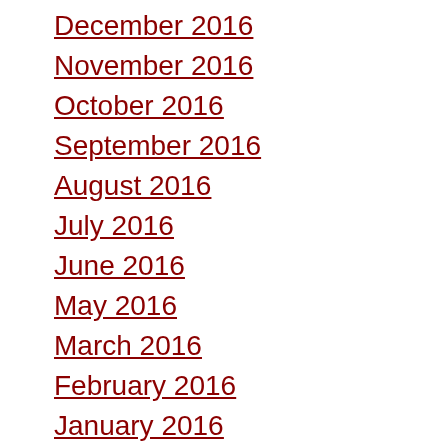December 2016
November 2016
October 2016
September 2016
August 2016
July 2016
June 2016
May 2016
March 2016
February 2016
January 2016
December 2015
November 2015
October 2015